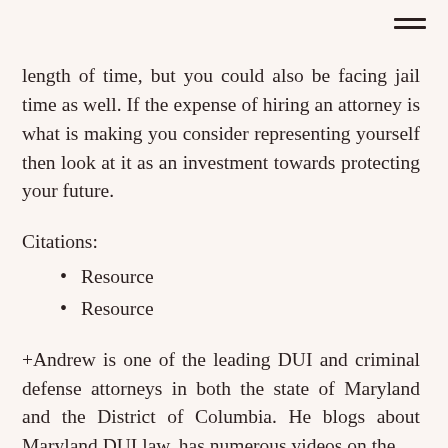≡
length of time, but you could also be facing jail time as well. If the expense of hiring an attorney is what is making you consider representing yourself then look at it as an investment towards protecting your future.
Citations:
Resource
Resource
+Andrew is one of the leading DUI and criminal defense attorneys in both the state of Maryland and the District of Columbia. He blogs about Maryland DUI law, has numerous videos on the